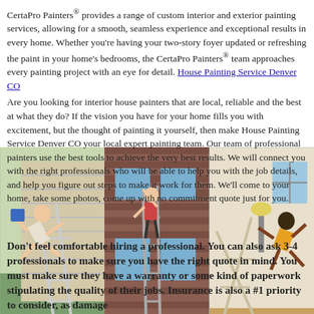CertaPro Painters® provides a range of custom interior and exterior painting services, allowing for a smooth, seamless experience and exceptional results in every home. Whether you're having your two-story foyer updated or refreshing the paint in your home's bedrooms, the CertaPro Painters® team approaches every painting project with an eye for detail. House Painting Service Denver CO
Are you looking for interior house painters that are local, reliable and the best at what they do? If the vision you have for your home fills you with excitement, but the thought of painting it yourself, then make House Painting Service Denver CO your local expert painting team. Our team of professional painters use the best tools to achieve the very best results. We will connect you with the right professionals who will be able to help you with the job details, and help you figure out steps to make it work for them. We'll come to your home, take some photos, come up with no commitment quote just for you.
[Figure (photo): Three photos side by side showing house painting scenarios: left photo shows a person falling off a ladder against a house with siding; middle photo shows a person painting on a ladder on a brick house exterior; right photo shows a person falling off a ladder indoors.]
Don't feel comfortable hiring a professional. You can also ask 3-4 professionals to make sure you have the right quote in mind. You must make sure they have a warranty or some kind of paperwork stipulating the quality of their jobs. Insurance is also a #1 priority to consider, as damage